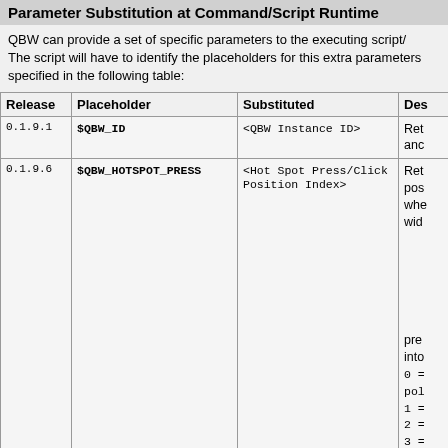Parameter Substitution at Command/Script Runtime
QBW can provide a set of specific parameters to the executing script/
The script will have to identify the placeholders for this extra parameters
specified in the following table:
| Release | Placeholder | Substituted | Des |
| --- | --- | --- | --- |
| 0.1.9.1 | $QBW_ID | <QBW Instance ID> | Ret
anc |
| 0.1.9.6 | $QBW_HOTSPOT_PRESS | <Hot Spot Press/Click
Position Index> | Ret
pos
whe
wid

pre
into
0 =
pol
1 =
2 =
3 =
4 =
5 =
6 =
7 =
8 = |